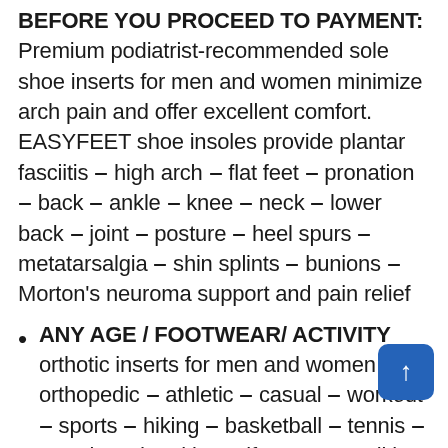BEFORE YOU PROCEED TO PAYMENT: Premium podiatrist-recommended sole shoe inserts for men and women minimize arch pain and offer excellent comfort. EASYFEET shoe insoles provide plantar fasciitis – high arch – flat feet – pronation – back – ankle – knee – neck – lower back – joint – posture – heel spurs – metatarsalgia – shin splints – bunions – Morton's neuroma support and pain relief
ANY AGE / FOOTWEAR/ ACTIVITY orthotic inserts for men and women fit all orthopedic – athletic – casual – workout – sports – hiking – basketball – tennis – snowboard – ski – golf – gym – walking shoes or work boots. Best insoles for walking – running – standing – cross-training. WARNING: you may feel foot pressure while 3-7 days of wearing. It's normal because